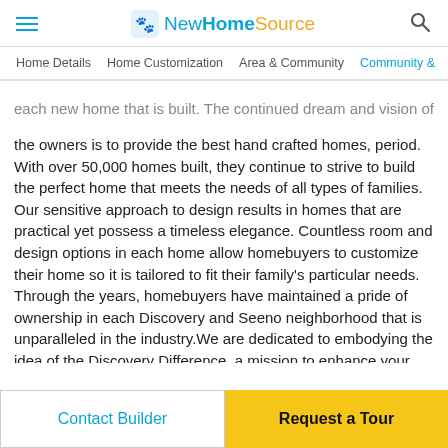NewHomeSource
Home Details  Home Customization  Area & Community  Community &
each new home that is built. The continued dream and vision of the owners is to provide the best hand crafted homes, period. With over 50,000 homes built, they continue to strive to build the perfect home that meets the needs of all types of families. Our sensitive approach to design results in homes that are practical yet possess a timeless elegance. Countless room and design options in each home allow homebuyers to customize their home so it is tailored to fit their family's particular needs. Through the years, homebuyers have maintained a pride of ownership in each Discovery and Seeno neighborhood that is unparalleled in the industry.We are dedicated to embodying the idea of the Discovery Difference, a mission to enhance your buying experience and offer new homes that exemplify the highest standards of craftsmanship. We work with a select group of cooperating lenders that are available onsite at our communities. Additionally, you have the luxury of visiting our Discovery Design Center where you can customize the details of your dream home. With these partnerships Discovery Homes